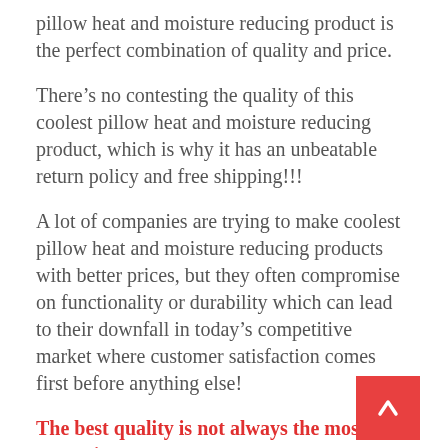pillow heat and moisture reducing product is the perfect combination of quality and price.
There’s no contesting the quality of this coolest pillow heat and moisture reducing product, which is why it has an unbeatable return policy and free shipping!!!
A lot of companies are trying to make coolest pillow heat and moisture reducing products with better prices, but they often compromise on functionality or durability which can lead to their downfall in today’s competitive market where customer satisfaction comes first before anything else!
The best quality is not always the most expensive.